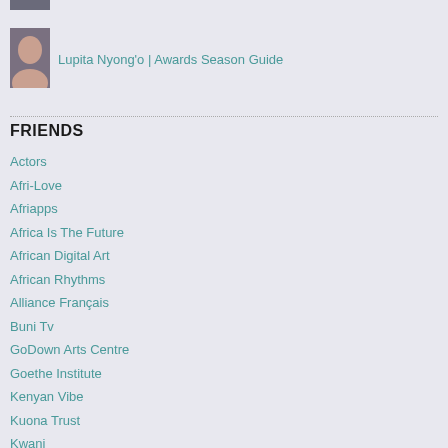[Figure (photo): Partial photo of a person at the very top of the page, cropped]
[Figure (photo): Small thumbnail photo of Lupita Nyong'o, a woman in dark clothing]
Lupita Nyong'o | Awards Season Guide
FRIENDS
Actors
Afri-Love
Afriapps
Africa Is The Future
African Digital Art
African Rhythms
Alliance Français
Buni Tv
GoDown Arts Centre
Goethe Institute
Kenyan Vibe
Kuona Trust
Kwani
Lunchbox Theory
Nairobi Now